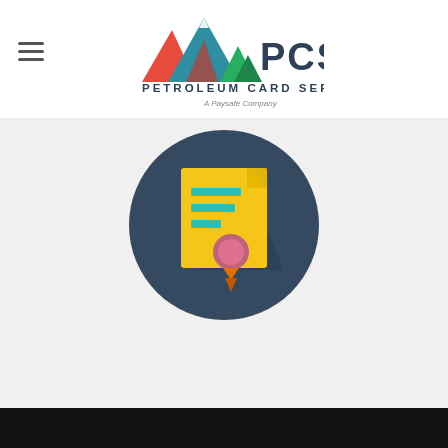[Figure (logo): PCS Petroleum Card Services logo with mountain illustration and 'A Paysafe Company' tagline]
[Figure (illustration): Circular dark blue icon with a yellow certificate/diploma document featuring teal horizontal lines and an orange/pink award seal with ribbon]
Educational Support
First class reputation and ongoing commitment to training